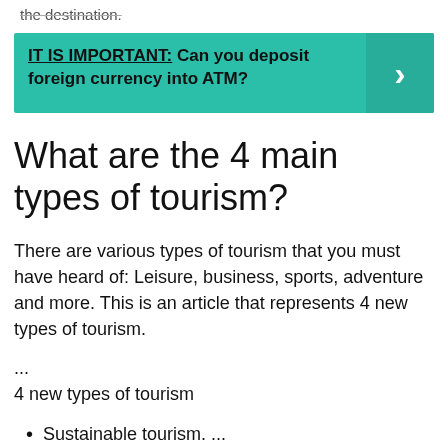the destination.
IT IS IMPORTANT:  Can you deposit foreign currency into ATM?
What are the 4 main types of tourism?
There are various types of tourism that you must have heard of: Leisure, business, sports, adventure and more. This is an article that represents 4 new types of tourism.
...
4 new types of tourism
Sustainable tourism. ...
Food tourism. ...